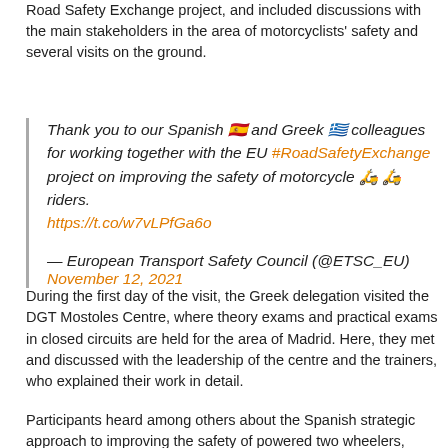Road Safety Exchange project, and included discussions with the main stakeholders in the area of motorcyclists' safety and several visits on the ground.
Thank you to our Spanish 🇪🇸 and Greek 🇬🇷 colleagues for working together with the EU #RoadSafetyExchange project on improving the safety of motorcycle 🛵 🛵 riders. https://t.co/w7vLPfGa6o
— European Transport Safety Council (@ETSC_EU) November 12, 2021
During the first day of the visit, the Greek delegation visited the DGT Mostoles Centre, where theory exams and practical exams in closed circuits are held for the area of Madrid. Here, they met and discussed with the leadership of the centre and the trainers, who explained their work in detail.
Participants heard among others about the Spanish strategic approach to improving the safety of powered two wheelers, formulated in the National